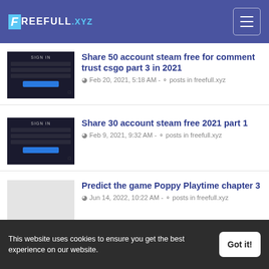FREEFULL.XYZ
[Figure (screenshot): Dark login/sign-in screen thumbnail for CSGO account sharing article 1]
Share 50 account steam free for comment trust csgo part 3 in 2021
Feb 20, 2021, 5:18 AM - posts in freefull.xyz
[Figure (screenshot): Dark login/sign-in screen thumbnail for CSGO account sharing article 2]
Share 30 account steam free 2021 part 1
Feb 9, 2021, 9:32 AM - posts in freefull.xyz
[Figure (photo): Light gray placeholder image for Poppy Playtime article]
Predict the game Poppy Playtime chapter 3
Jun 14, 2022, 10:22 AM - posts in freefull.xyz
TOP GAME
This website uses cookies to ensure you get the best experience on our website.